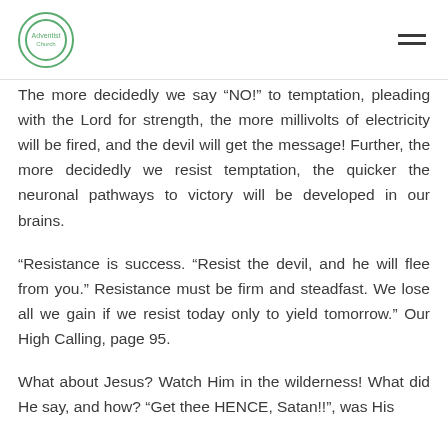[Logo and navigation menu]
The more decidedly we say “NO!” to temptation, pleading with the Lord for strength, the more millivolts of electricity will be fired, and the devil will get the message! Further, the more decidedly we resist temptation, the quicker the neuronal pathways to victory will be developed in our brains.
“Resistance is success. "Resist the devil, and he will flee from you." Resistance must be firm and steadfast. We lose all we gain if we resist today only to yield tomorrow.” Our High Calling, page 95.
What about Jesus? Watch Him in the wilderness! What did He say, and how? “Get thee HENCE, Satan!!”, was His